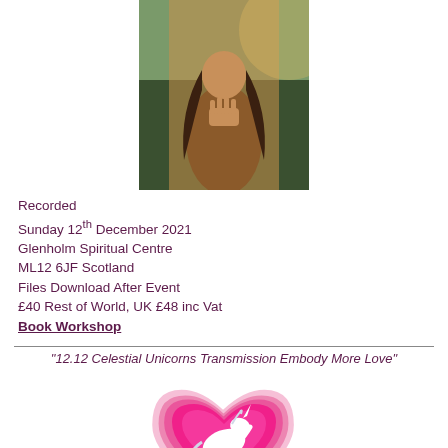[Figure (photo): Woman with hands in prayer pose, long dark hair, warm golden outdoor lighting]
Recorded
Sunday 12th December 2021
Glenholm Spiritual Centre
ML12 6JF Scotland
Files Download After Event
£40 Rest of World, UK £48 inc Vat
Book Workshop
“12.12 Celestial Unicorns Transmission Embody More Love”
[Figure (illustration): White unicorn rearing up inside a pink heart shape with concentric pink rings]